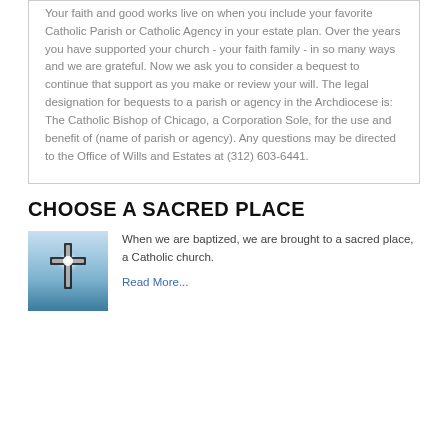Your faith and good works live on when you include your favorite Catholic Parish or Catholic Agency in your estate plan. Over the years you have supported your church - your faith family - in so many ways and we are grateful. Now we ask you to consider a bequest to continue that support as you make or review your will. The legal designation for bequests to a parish or agency in the Archdiocese is: The Catholic Bishop of Chicago, a Corporation Sole, for the use and benefit of (name of parish or agency). Any questions may be directed to the Office of Wills and Estates at (312) 603-6441.
CHOOSE A SACRED PLACE
[Figure (photo): Photo of a glowing cross against a blue sky]
When we are baptized, we are brought to a sacred place, a Catholic church.
Read More...